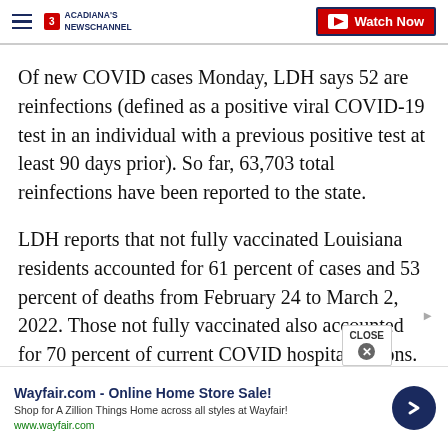Acadiana's Newschannel | Watch Now
Of new COVID cases Monday, LDH says 52 are reinfections (defined as a positive viral COVID-19 test in an individual with a previous positive test at least 90 days prior). So far, 63,703 total reinfections have been reported to the state.
LDH reports that not fully vaccinated Louisiana residents accounted for 61 percent of cases and 53 percent of deaths from February 24 to March 2, 2022. Those not fully vaccinated also accounted for 70 percent of current COVID hospitalizations.
[Figure (screenshot): Advertisement banner: Wayfair.com - Online Home Store Sale! Shop for A Zillion Things Home across all styles at Wayfair! www.wayfair.com]